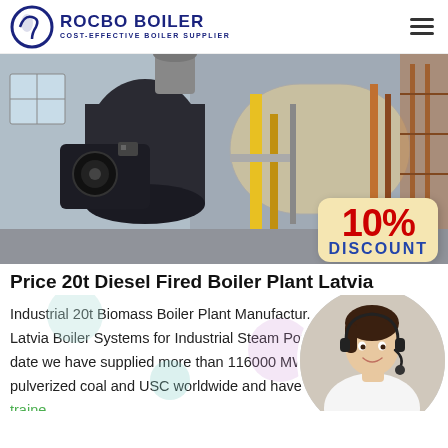ROCBO BOILER — COST-EFFECTIVE BOILER SUPPLIER
[Figure (photo): Industrial boiler plant equipment with large cylindrical tanks, pipes, and machinery in a factory setting. A 10% DISCOUNT badge is overlaid on the lower right.]
Price 20t Diesel Fired Boiler Plant Latvia
Industrial 20t Biomass Boiler Plant Manufactur... Latvia Boiler Systems for Industrial Steam Pow... date we have supplied more than 116000 MW of s... pulverized coal and USC worldwide and have licensed and traine...